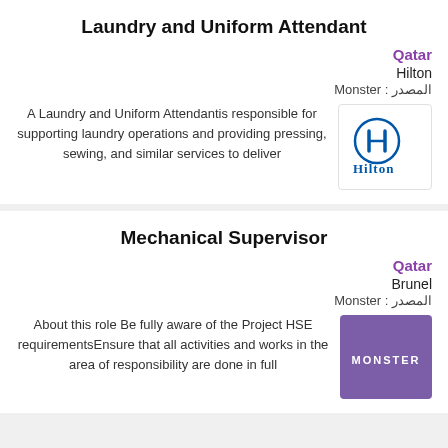Laundry and Uniform Attendant
Qatar
Hilton
المصدر : Monster
A Laundry and Uniform Attendantis responsible for supporting laundry operations and providing pressing, sewing, and similar services to deliver
[Figure (logo): Hilton hotel logo with H icon and Hilton text in blue]
Mechanical Supervisor
Qatar
Brunel
المصدر : Monster
About this role Be fully aware of the Project HSE requirementsEnsure that all activities and works in the area of responsibility are done in full
[Figure (logo): Monster job board logo - white text on purple background]